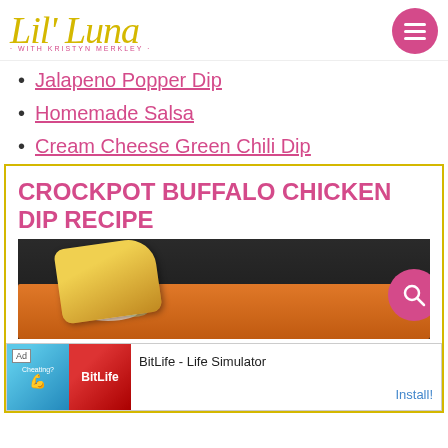[Figure (logo): Lil' Luna logo with yellow cursive script text and pink subtitle 'WITH KRISTYN MERKLEY']
Jalapeno Popper Dip
Homemade Salsa
Cream Cheese Green Chili Dip
CROCKPOT BUFFALO CHICKEN DIP RECIPE
[Figure (photo): Close-up photo of buffalo chicken dip in a crockpot with a chip being dipped into it]
[Figure (screenshot): Ad banner for BitLife - Life Simulator with Install! button]